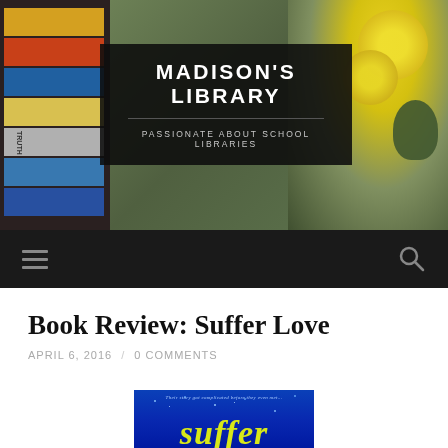[Figure (screenshot): Website header for Madison's Library blog showing background photo of books stacked on left and yellow flowers on right, with a dark semi-transparent banner overlay containing the site title and tagline]
MADISON'S LIBRARY / PASSIONATE ABOUT SCHOOL LIBRARIES
Book Review: Suffer Love
APRIL 6, 2016 / 0 COMMENTS
[Figure (photo): Book cover of 'Suffer Love' - blue starry night background with yellow-green italic title text 'suffer' visible at bottom, tagline 'Their story got complicated before they even met...' at top]